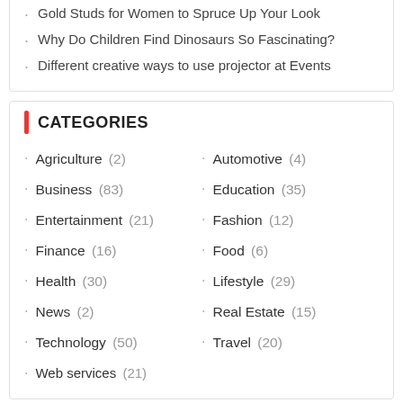Gold Studs for Women to Spruce Up Your Look
Why Do Children Find Dinosaurs So Fascinating?
Different creative ways to use projector at Events
CATEGORIES
Agriculture (2)
Automotive (4)
Business (83)
Education (35)
Entertainment (21)
Fashion (12)
Finance (16)
Food (6)
Health (30)
Lifestyle (29)
News (2)
Real Estate (15)
Technology (50)
Travel (20)
Web services (21)